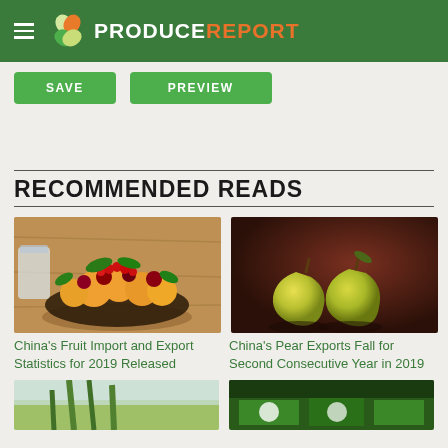PRODUCE REPORT
SAVE   PREVIEW
RECOMMENDED READS
[Figure (photo): Bowl of mixed fruits including apricots, cherries, and red currants on a wooden surface]
[Figure (photo): Two green/yellow pears on a dark reddish-brown background]
China's Fruit Import and Export Statistics for 2019 Released
China's Pear Exports Fall for Second Consecutive Year in 2019
[Figure (photo): Partial image of green vegetables or plants]
[Figure (photo): Partial image of green trade show or market display]